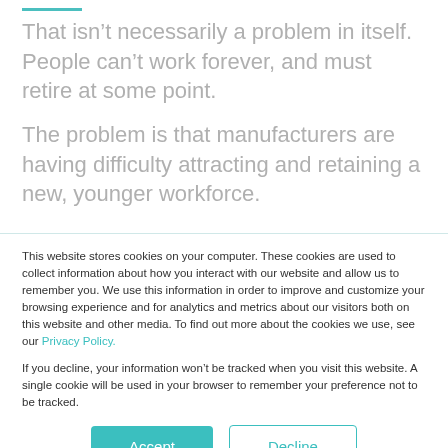That isn't necessarily a problem in itself. People can't work forever, and must retire at some point.
The problem is that manufacturers are having difficulty attracting and retaining a new, younger workforce.
This website stores cookies on your computer. These cookies are used to collect information about how you interact with our website and allow us to remember you. We use this information in order to improve and customize your browsing experience and for analytics and metrics about our visitors both on this website and other media. To find out more about the cookies we use, see our Privacy Policy.
If you decline, your information won't be tracked when you visit this website. A single cookie will be used in your browser to remember your preference not to be tracked.